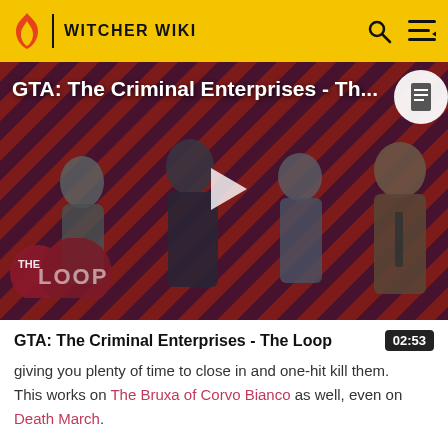WITCHER WIKI
[Figure (screenshot): Video thumbnail for GTA: The Criminal Enterprises - The Loop. Red and dark diagonal striped background with game characters standing in front. A play button is visible in the center. 'The Loop' logo is in the bottom left. The video title appears overlaid at top left.]
GTA: The Criminal Enterprises - The Loop
giving you plenty of time to close in and one-hit kill them. This works on The Bruxa of Corvo Bianco as well, even on Death March.